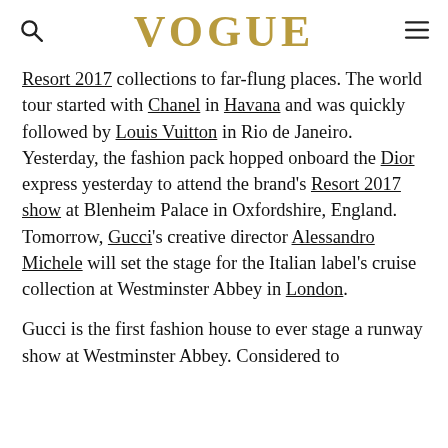VOGUE
Resort 2017 collections to far-flung places. The world tour started with Chanel in Havana and was quickly followed by Louis Vuitton in Rio de Janeiro. Yesterday, the fashion pack hopped onboard the Dior express yesterday to attend the brand's Resort 2017 show at Blenheim Palace in Oxfordshire, England. Tomorrow, Gucci's creative director Alessandro Michele will set the stage for the Italian label's cruise collection at Westminster Abbey in London.
Gucci is the first fashion house to ever stage a runway show at Westminster Abbey. Considered to